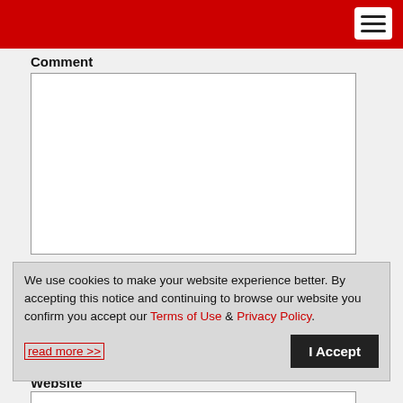Comment
We use cookies to make your website experience better. By accepting this notice and continuing to browse our website you confirm you accept our Terms of Use & Privacy Policy.

read more >>
Website